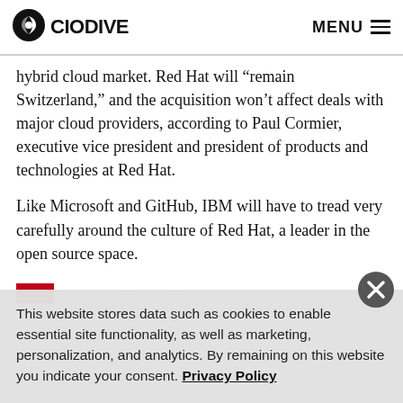CIO DIVE   MENU
hybrid cloud market. Red Hat will “remain Switzerland,” and the acquisition won’t affect deals with major cloud providers, according to Paul Cormier, executive vice president and president of products and technologies at Red Hat.
Like Microsoft and GitHub, IBM will have to tread very carefully around the culture of Red Hat, a leader in the open source space.
This website stores data such as cookies to enable essential site functionality, as well as marketing, personalization, and analytics. By remaining on this website you indicate your consent. Privacy Policy